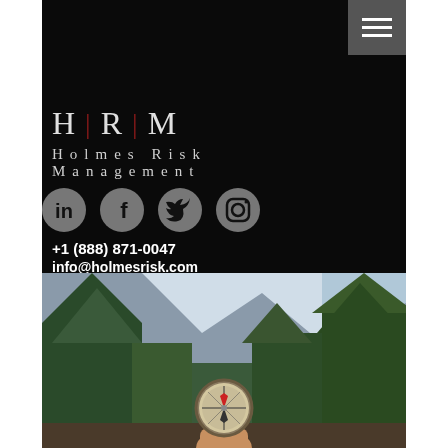[Figure (logo): HRM Holmes Risk Management logo with H|R|M initials in serif font with red separators, on black background]
[Figure (illustration): Four social media icon circles: LinkedIn, Facebook, Twitter, Instagram - gray circles on black background]
+1 (888) 871-0047
info@holmesrisk.com
[Figure (photo): Person holding a compass against a forest and mountain background with green trees and cloudy sky]